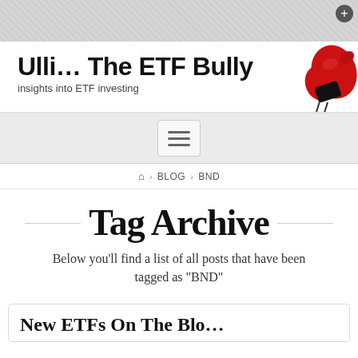[Figure (screenshot): Top textured gray bar with a small circular plus button in the top-right corner]
Ulli... The ETF Bully
insights into ETF investing
[Figure (photo): Red boxing glove image in the top-right header area]
[Figure (other): Hamburger/navigation menu button with three horizontal lines]
🏠 › BLOG › BND
Tag Archive
Below you'll find a list of all posts that have been tagged as "BND"
New ETFs On The Blo...